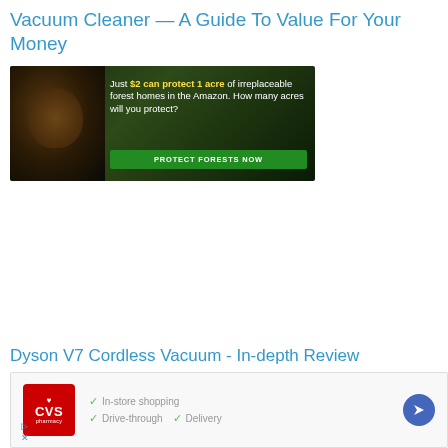Vacuum Cleaner — A Guide To Value For Your Money
[Figure (illustration): Advertisement banner for Amazon forest protection. Shows a monkey/primate face surrounded by green foliage on the left. Text reads: 'Just $2 can protect 1 acre of irreplaceable forest homes in the Amazon. How many acres will you protect?' with a green button 'PROTECT FORESTS NOW']
Dyson V7 Cordless Vacuum - In-depth Review
[Figure (screenshot): CVS Pharmacy advertisement showing CVS logo (red box with heart and text), checkmark items: In-store shopping, Drive-through, Delivery, and a blue direction arrow icon on the right. Close/play icons at bottom left.]